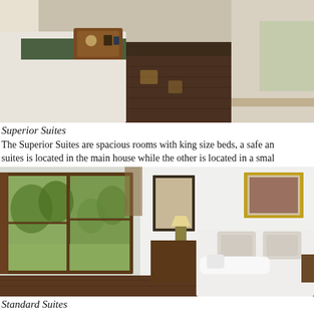[Figure (photo): Interior photo of a Superior Suite bedroom with dark hardwood floors, a bed with white linens and a green runner, and a wooden tray with items on the bed. Bright room with white walls and natural light.]
Superior Suites
The Superior Suites are spacious rooms with king size beds, a safe an suites is located in the main house while the other is located in a sma
[Figure (photo): Interior photo of a Standard Suite bedroom with large open wooden-framed windows overlooking green gardens, a white bed with pillows and folded towels, dark wood floors, a small lamp, and two framed pictures on white walls.]
Standard Suites